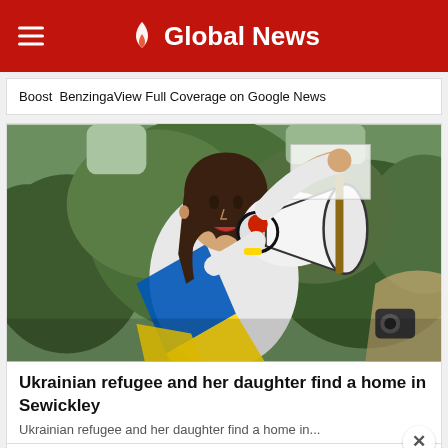Global News
Boost  BenzingaView Full Coverage on Google News
[Figure (photo): Woman speaking into a megaphone, draped in a Ukrainian flag (blue and yellow), with one arm raised holding a sign, outdoors with green trees in background.]
Ukrainian refugee and her daughter find a home in Sewickley
Ukrainian refugee and her daughter find a home in Sewickley
[Figure (other): Advertisement banner for Gryphos Creative Agency — Brand Experts, with a Contact Us button.]